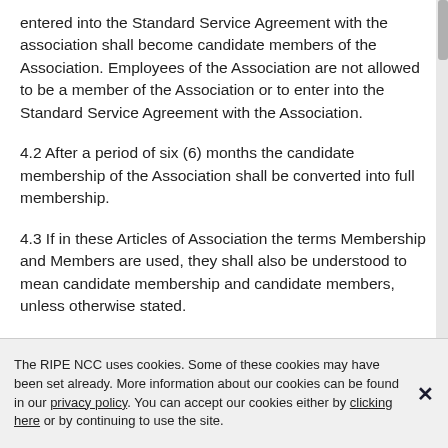entered into the Standard Service Agreement with the association shall become candidate members of the Association. Employees of the Association are not allowed to be a member of the Association or to enter into the Standard Service Agreement with the Association.
4.2 After a period of six (6) months the candidate membership of the Association shall be converted into full membership.
4.3 If in these Articles of Association the terms Membership and Members are used, they shall also be understood to mean candidate membership and candidate members, unless otherwise stated.
The RIPE NCC uses cookies. Some of these cookies may have been set already. More information about our cookies can be found in our privacy policy. You can accept our cookies either by clicking here or by continuing to use the site.